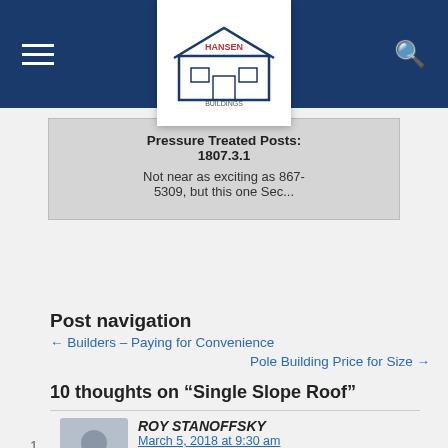Hansen Buildings navigation header
[Figure (logo): Hansen Buildings logo in white box on blue header bar]
Pressure Treated Posts: 1807.3.1
Not near as exciting as 867-5309, but this one Sec...
Post navigation
← Builders – Paying for Convenience
Pole Building Price for Size →
10 thoughts on “Single Slope Roof”
ROY STANOFFSKY
March 5, 2018 at 9:30 am
I AM LOOKING AT PUTTING UP A POLE SHED FOR BOAT STORAGE JUST LOOKING FOR SUN PROTECTION I AM THINKING OF A THREE SIDED SHED WITH A SLOPED ROOF WHAT WOULD YOU RECOMEND